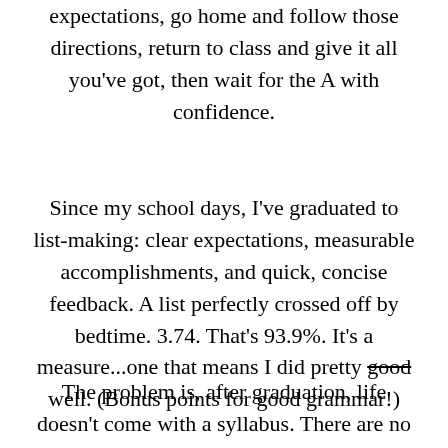expectations, go home and follow those directions, return to class and give it all you've got, then wait for the A with confidence.
Since my school days, I've graduated to list-making: clear expectations, measurable accomplishments, and quick, concise feedback. A list perfectly crossed off by bedtime. 3.74. That's 93.9%. It's a measure...one that means I did pretty good well. (Bonus points for good grammar!)
The problem is, after graduation, life doesn't come with a syllabus. There are no professor, no report cards, no red